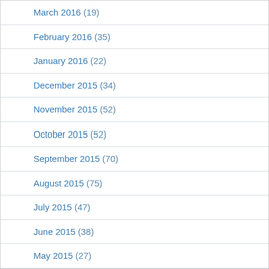March 2016 (19)
February 2016 (35)
January 2016 (22)
December 2015 (34)
November 2015 (52)
October 2015 (52)
September 2015 (70)
August 2015 (75)
July 2015 (47)
June 2015 (38)
May 2015 (27)
April 2015 (7)
March 2015 (33)
February 2015 (21)
January 2015 (39)